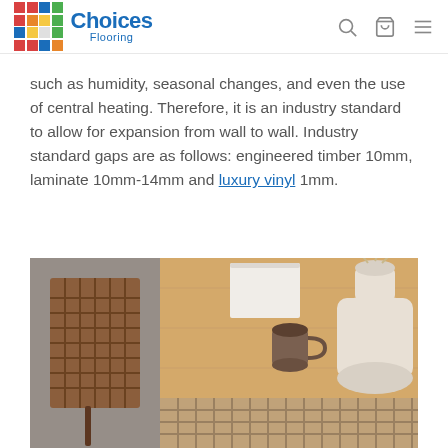Choices Flooring
such as humidity, seasonal changes, and even the use of central heating. Therefore, it is an industry standard to allow for expansion from wall to wall. Industry standard gaps are as follows: engineered timber 10mm, laminate 10mm-14mm and luxury vinyl 1mm.
[Figure (photo): Overhead view of a wooden table with a woven leather chair, a coffee mug, a book, and a large ceramic vase. A woven basket/mat is visible in the lower portion. The floor beneath appears to be a grey vinyl or laminate.]